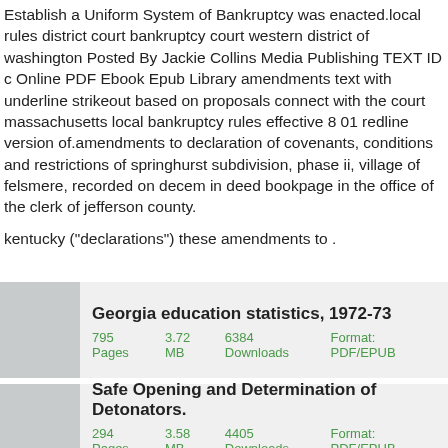Establish a Uniform System of Bankruptcy was enacted.local rules district court bankruptcy court western district of washington Posted By Jackie Collins Media Publishing TEXT ID c Online PDF Ebook Epub Library amendments text with underline strikeout based on proposals connect with the court massachusetts local bankruptcy rules effective 8 01 redline version of.amendments to declaration of covenants, conditions and restrictions of springhurst subdivision, phase ii, village of felsmere, recorded on decem in deed bookpage in the office of the clerk of jefferson county.
kentucky ("declarations") these amendments to .
Georgia education statistics, 1972-73
795 Pages    3.72 MB    6384 Downloads    Format: PDF/EPUB
Safe Opening and Determination of Detonators.
294 Pages    3.58 MB    4405 Downloads    Format: PDF/EPUB